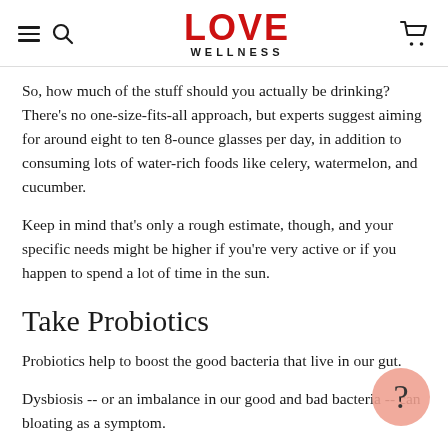LOVE WELLNESS
So, how much of the stuff should you actually be drinking? There's no one-size-fits-all approach, but experts suggest aiming for around eight to ten 8-ounce glasses per day, in addition to consuming lots of water-rich foods like celery, watermelon, and cucumber.
Keep in mind that's only a rough estimate, though, and your specific needs might be higher if you're very active or if you happen to spend a lot of time in the sun.
Take Probiotics
Probiotics help to boost the good bacteria that live in our gut.
Dysbiosis -- or an imbalance in our good and bad bacteria -- can bloating as a symptom.